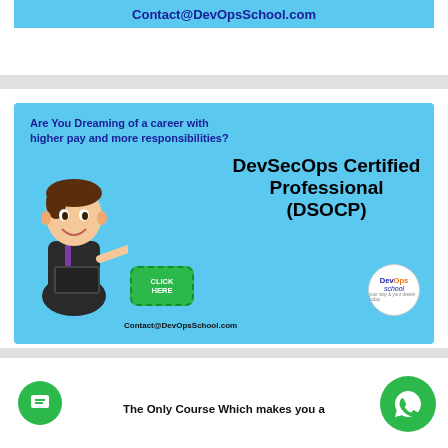[Figure (illustration): Top cropped banner with light blue background showing 'Contact@DevOpsSchool.com' in dark blue bold text]
[Figure (infographic): DevSecOps Certified Professional (DSOCP) advertisement banner with light blue background, cartoon businessman holding laptop, bold text headline, green CLICK HERE button, DevOps School logo, and contact email]
The Only Course Which makes you a